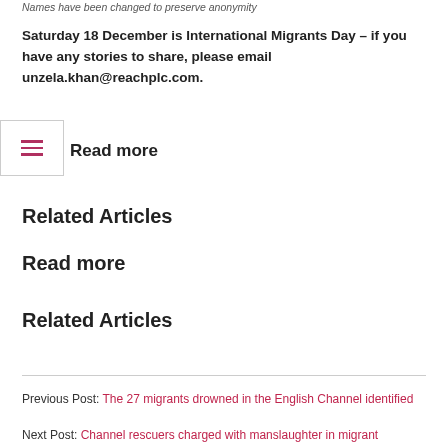Names have been changed to preserve anonymity
Saturday 18 December is International Migrants Day – if you have any stories to share, please email unzela.khan@reachplc.com.
Read more
Related Articles
Read more
Related Articles
Previous Post: The 27 migrants drowned in the English Channel identified
Next Post: Channel rescuers charged with manslaughter in migrant